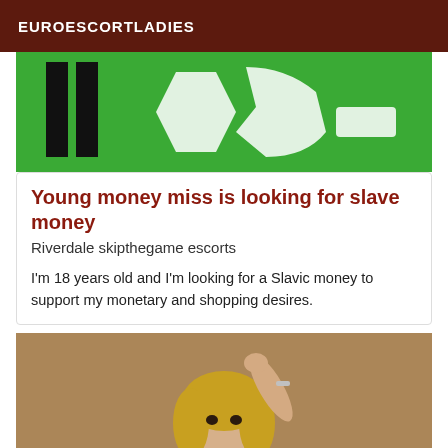EUROESCORTLADIES
[Figure (photo): Green background with black and white abstract logo/text shapes]
Young money miss is looking for slave money
Riverdale skipthegame escorts
I'm 18 years old and I'm looking for a Slavic money to support my monetary and shopping desires.
[Figure (photo): Young blonde woman posing with hand raised to head, warm brown background]